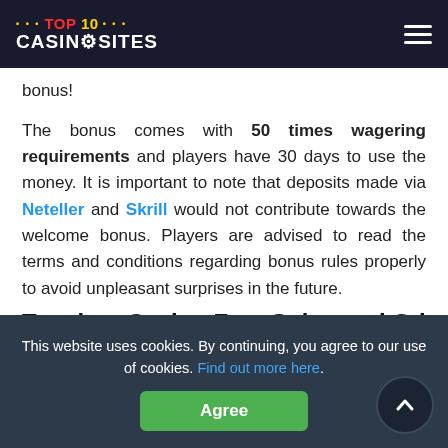TOP 10 CASINOSITES
bonus!
The bonus comes with 50 times wagering requirements and players have 30 days to use the money. It is important to note that deposits made via Neteller and Skrill would not contribute towards the welcome bonus. Players are advised to read the terms and conditions regarding bonus rules properly to avoid unpleasant surprises in the future.
Tangiers Casino Free Spins and Other
[Figure (other): Live casino promotional banner with LIVE badge and PLAY FREE LIVE CASINO text, dealer image, and arrow button]
This website uses cookies. By continuing, you agree to our use of cookies. Find out more here.
Agree